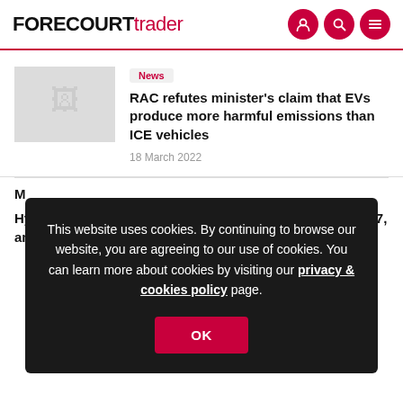FORECOURTtrader
[Figure (screenshot): Thumbnail placeholder image for article]
News
RAC refutes minister's claim that EVs produce more harmful emissions than ICE vehicles
18 March 2022
M
This website uses cookies. By continuing to browse our website, you are agreeing to our use of cookies. You can learn more about cookies by visiting our privacy & cookies policy page.
OK
Hydrogen vehicles to exceed one million globally by 2027, and are necessary EV